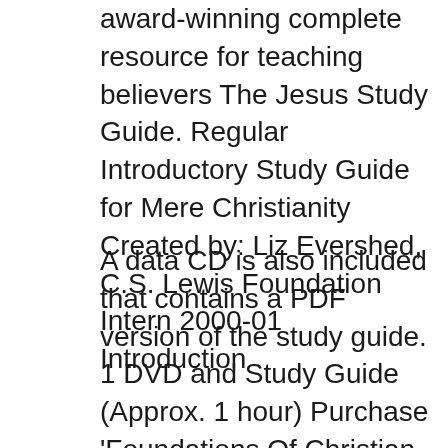award-winning complete resource for teaching believers The Jesus Study Guide. Regular Introductory Study Guide for Mere Christianity Created by: Liz Evershed, C.S. Lewis Foundation Intern 2000-01 Introduction
A data CD is also included that contains a PDF version of the study guide. 1 DVD and Study Guide (Approx. 1 hour) Purchase 'Foundations Of Christian Doctrine Study Guide' by Kevin J Conner online here at Word Bookstore.
Purchase 'The Foundations Of Christian Doctrine Study Guide' by Kevin J. Conner online here at Word Bookstore. General Bible Courses. How to Study